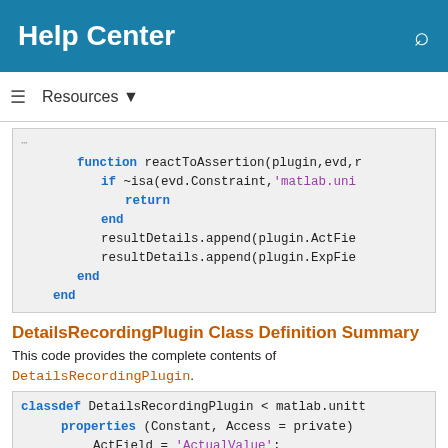Help Center
Resources
[Figure (screenshot): Code block showing function reactToAssertion(plugin,evd,r...) with if ~isa, return, end, resultDetails.append lines]
DetailsRecordingPlugin Class Definition Summary
This code provides the complete contents of DetailsRecordingPlugin.
[Figure (screenshot): Code block showing classdef DetailsRecordingPlugin < matlab.unitt..., properties (Constant, Access = private), ActField = 'ActualValue'; ExpField = 'ExpectedValue'; end]